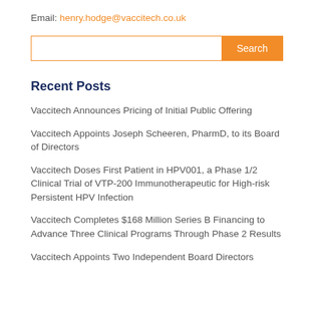Email: henry.hodge@vaccitech.co.uk
Recent Posts
Vaccitech Announces Pricing of Initial Public Offering
Vaccitech Appoints Joseph Scheeren, PharmD, to its Board of Directors
Vaccitech Doses First Patient in HPV001, a Phase 1/2 Clinical Trial of VTP-200 Immunotherapeutic for High-risk Persistent HPV Infection
Vaccitech Completes $168 Million Series B Financing to Advance Three Clinical Programs Through Phase 2 Results
Vaccitech Appoints Two Independent Board Directors